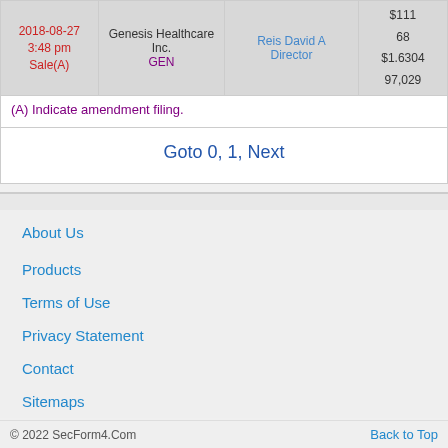| Date/Time/Type | Company | Person/Role | Price/Shares/Value/Holdings |
| --- | --- | --- | --- |
| 2018-08-27
3:48 pm
Sale(A) | Genesis Healthcare Inc.
GEN | Reis David A
Director | $111
68
$1.6304
97,029 |
(A) Indicate amendment filing.
Goto 0, 1, Next
About Us
Products
Terms of Use
Privacy Statement
Contact
Sitemaps
© 2022 SecForm4.Com    Back to Top